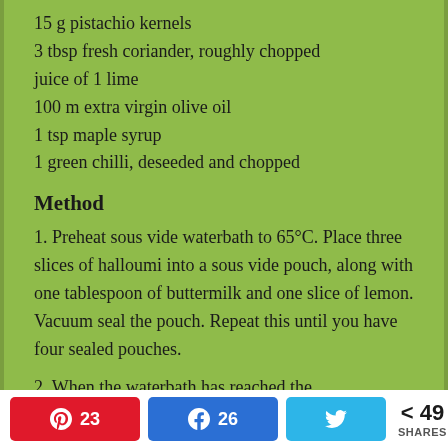15 g pistachio kernels
3 tbsp fresh coriander, roughly chopped
juice of 1 lime
100 m extra virgin olive oil
1 tsp maple syrup
1 green chilli, deseeded and chopped
Method
1. Preheat sous vide waterbath to 65°C. Place three slices of halloumi into a sous vide pouch, along with one tablespoon of buttermilk and one slice of lemon. Vacuum seal the pouch. Repeat this until you have four sealed pouches.
2. When the waterbath has reached the